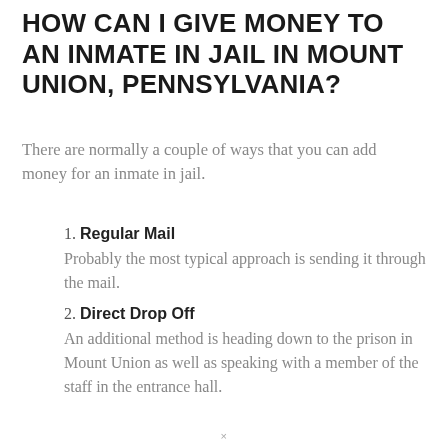HOW CAN I GIVE MONEY TO AN INMATE IN JAIL IN MOUNT UNION, PENNSYLVANIA?
There are normally a couple of ways that you can add money for an inmate in jail.
1. Regular Mail
Probably the most typical approach is sending it through the mail.
2. Direct Drop Off
An additional method is heading down to the prison in Mount Union as well as speaking with a member of the staff in the entrance hall.
×